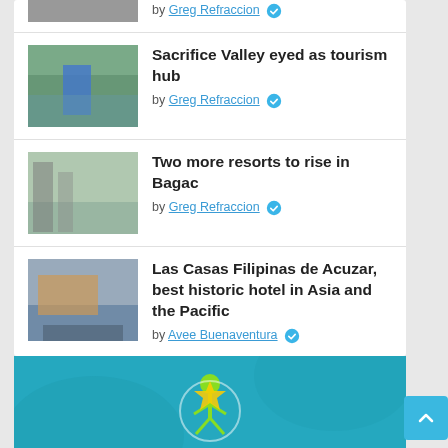by Greg Refraccion
Sacrifice Valley eyed as tourism hub
by Greg Refraccion
Two more resorts to rise in Bagac
by Greg Refraccion
Las Casas Filipinas de Acuzar, best historic hotel in Asia and the Pacific
by Avee Buenaventura
[Figure (illustration): Colorful logo/mascot on teal banner background]